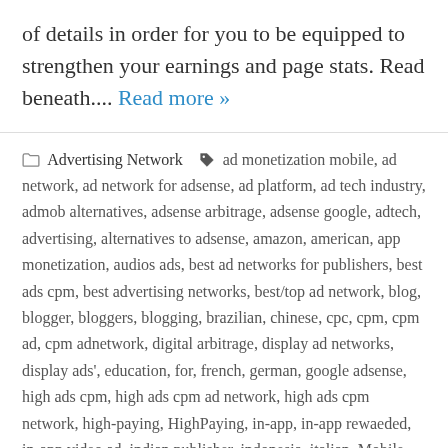of details in order for you to be equipped to strengthen your earnings and page stats. Read beneath.... Read more »
Advertising Network  ad monetization mobile, ad network, ad network for adsense, ad platform, ad tech industry, admob alternatives, adsense arbitrage, adsense google, adtech, advertising, alternatives to adsense, amazon, american, app monetization, audios ads, best ad networks for publishers, best ads cpm, best advertising networks, best/top ad network, blog, blogger, bloggers, blogging, brazilian, chinese, cpc, cpm, cpm ad, cpm adnetwork, digital arbitrage, display ad networks, display ads', education, for, french, german, google adsense, high ads cpm, high ads cpm ad network, high ads cpm network, high-paying, HighPaying, in-app, in-app rewaeded, in-app video ad, indian publisher, indonesia, italian, Mobile Ads, mobile app monetization,